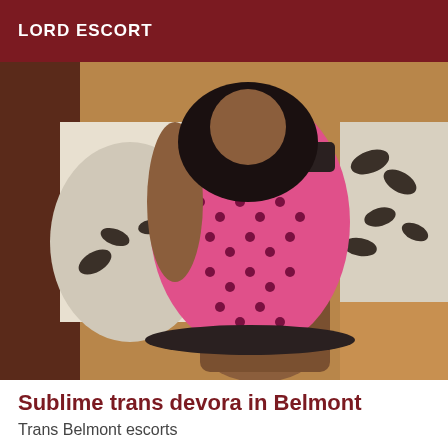LORD ESCORT
[Figure (photo): A person wearing a pink polka-dot mini dress standing in a bedroom setting with white pillows and wooden floor visible.]
Sublime trans devora in Belmont
Trans Belmont escorts